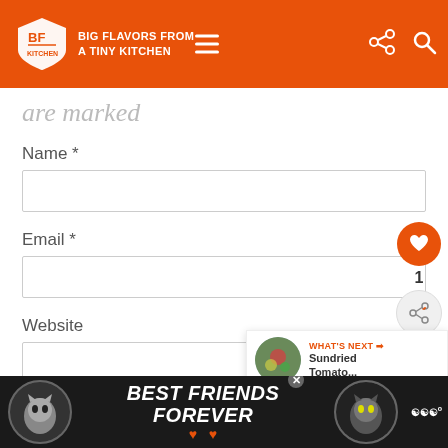BIG FLAVORS FROM A TINY KITCHEN
are marked
Name *
Email *
Website
Comment
[Figure (screenshot): Floating heart like button (orange circle) with count 1, and share button below]
WHAT'S NEXT → Sundried Tomato...
[Figure (infographic): Best Friends Forever pet food advertisement banner with two cats and heart icons on dark background]